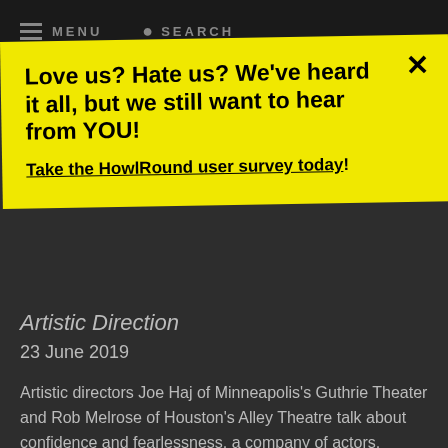MENU  SEARCH
Love us? Hate us? We've heard it all, but we still want to hear from YOU!
Take the HowlRound user survey today!
Artistic Direction
23 June 2019
Artistic directors Joe Haj of Minneapolis's Guthrie Theater and Rob Melrose of Houston's Alley Theatre talk about confidence and fearlessness, a company of actors, fighting for the classics, and more.